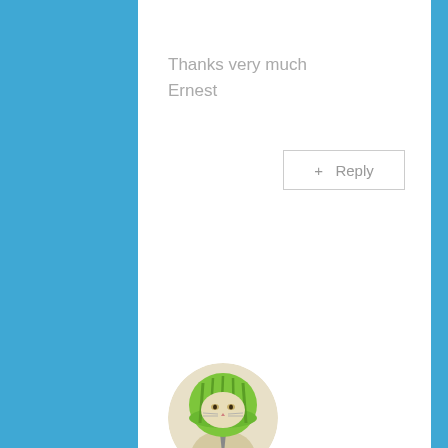Thanks very much Ernest
+ Reply
[Figure (illustration): Circular avatar image of a cat wearing a green hoodie, styled as an anime character with a tie]
shiyao
March 21, 2017
Wondering how you draw this picture: